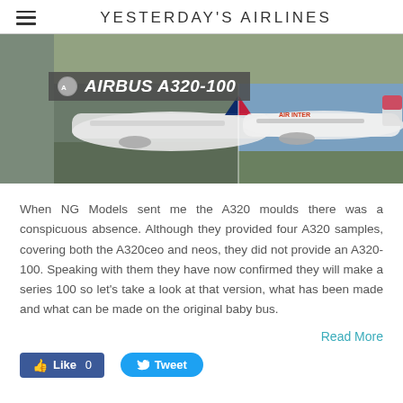YESTERDAY'S AIRLINES
[Figure (photo): Composite banner image showing two Airbus A320-100 aircraft. Left: British Airways A320 on tarmac with tail fin visible. Right: Air Inter A320 on runway with blue sky. Aerial background at top. Overlay text reads AIRBUS A320-100 in italic bold white on dark grey background with Airbus logo.]
When NG Models sent me the A320 moulds there was a conspicuous absence. Although they provided four A320 samples, covering both the A320ceo and neos, they did not provide an A320-100. Speaking with them they have now confirmed they will make a series 100 so let's take a look at that version, what has been made and what can be made on the original baby bus.
Read More